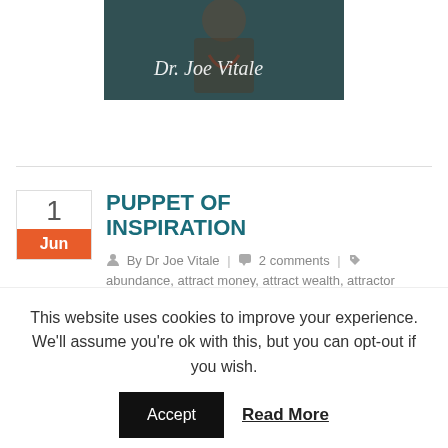[Figure (photo): Photo of Dr. Joe Vitale with script text overlay reading 'Dr. Joe Vitale']
PUPPET OF INSPIRATION
By Dr Joe Vitale | 2 comments | abundance, attract money, attract wealth, attractor factor, bentley, Books, brainstorm, cars, coaching, Divine, inspiration, inspired, jennifer nicole
This website uses cookies to improve your experience. We'll assume you're ok with this, but you can opt-out if you wish.
Accept  Read More